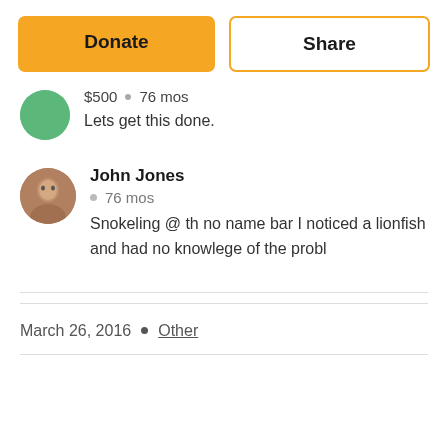[Figure (screenshot): Donate and Share buttons at the top of a crowdfunding page]
$500 • 76 mos
Lets get this done.
John Jones
• 76 mos
Snokeling @ th no name bar I noticed a lionfish and had no knowlege of the probl
March 26, 2016 • Other